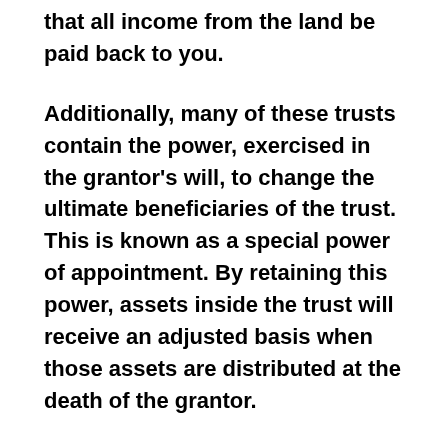that all income from the land be paid back to you.
Additionally, many of these trusts contain the power, exercised in the grantor's will, to change the ultimate beneficiaries of the trust. This is known as a special power of appointment. By retaining this power, assets inside the trust will receive an adjusted basis when those assets are distributed at the death of the grantor.
This is important if any capital assets such as stocks, bonds, or real estate are held in the trust because it can greatly reduce the